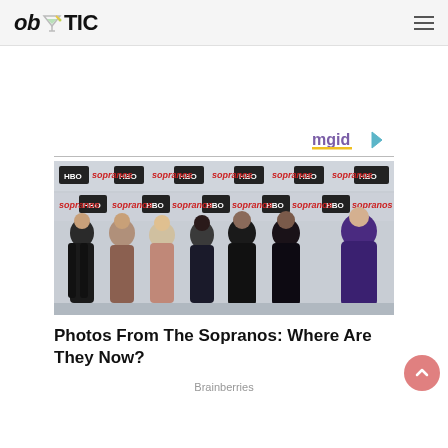ob TIC (logo with martini glass icon and hamburger menu)
[Figure (logo): MGID logo with play button icon in purple/yellow colors]
[Figure (photo): Group photo of Sopranos cast women at a red carpet event with HBO and Sopranos branded backdrop]
Photos From The Sopranos: Where Are They Now?
Brainberries